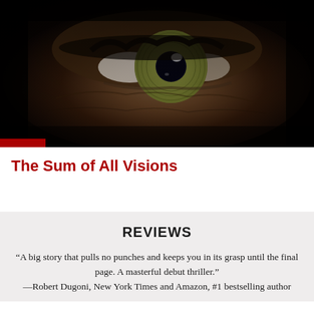[Figure (photo): Close-up dramatic photo of a human eye with dark surroundings, the iris showing green/hazel coloring, very dark moody lighting]
The Sum of All Visions
REVIEWS
“A big story that pulls no punches and keeps you in its grasp until the final page. A masterful debut thriller.” —Robert Dugoni, New York Times and Amazon, #1 bestselling author